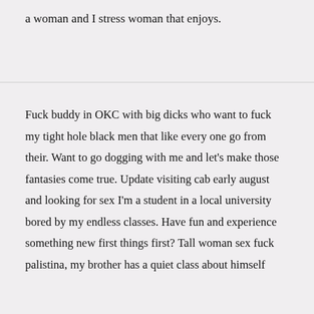a woman and I stress woman that enjoys.
Fuck buddy in OKC with big dicks who want to fuck my tight hole black men that like every one go from their. Want to go dogging with me and let's make those fantasies come true. Update visiting cab early august and looking for sex I'm a student in a local university bored by my endless classes. Have fun and experience something new first things first? Tall woman sex fuck palistina, my brother has a quiet class about himself